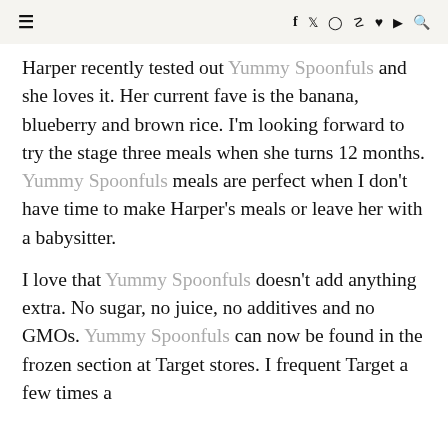≡  f  twitter  instagram  pinterest  heart  youtube  search
Harper recently tested out Yummy Spoonfuls and she loves it. Her current fave is the banana, blueberry and brown rice. I'm looking forward to try the stage three meals when she turns 12 months. Yummy Spoonfuls meals are perfect when I don't have time to make Harper's meals or leave her with a babysitter.
I love that Yummy Spoonfuls doesn't add anything extra. No sugar, no juice, no additives and no GMOs. Yummy Spoonfuls can now be found in the frozen section at Target stores. I frequent Target a few times a